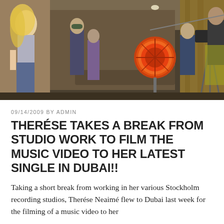[Figure (photo): Behind-the-scenes photo of a music video shoot. A blonde woman in a grey top and jeans stands on the left. Several crew members, camera equipment, a large orange fan/reflector, and a camera on a rig are visible in an indoor setting.]
09/14/2009 BY ADMIN
THERÉSE TAKES A BREAK FROM STUDIO WORK TO FILM THE MUSIC VIDEO TO HER LATEST SINGLE IN DUBAI!!
Taking a short break from working in her various Stockholm recording studios, Therése Neaimé flew to Dubai last week for the filming of a music video to her